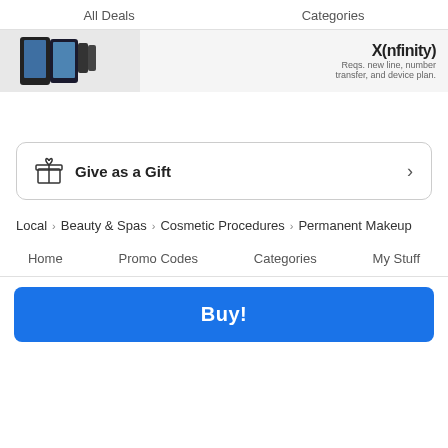All Deals   Categories
[Figure (photo): Advertisement banner showing Samsung foldable phones with text 'Reqs. new line, number transfer, and device plan.']
Give as a Gift
Local > Beauty & Spas > Cosmetic Procedures > Permanent Makeup
Home   Promo Codes   Categories   My Stuff
Buy!